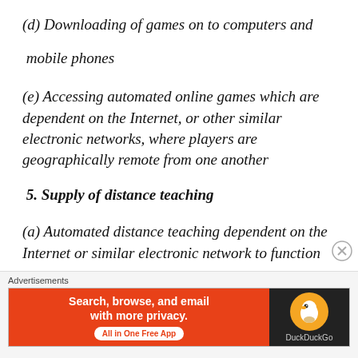(d) Downloading of games on to computers and mobile phones
(e) Accessing automated online games which are dependent on the Internet, or other similar electronic networks, where players are geographically remote from one another
5. Supply of distance teaching
(a) Automated distance teaching dependent on the Internet or similar electronic network to function
[Figure (other): DuckDuckGo advertisement banner: orange background with text 'Search, browse, and email with more privacy. All in One Free App' and DuckDuckGo logo on dark background.]